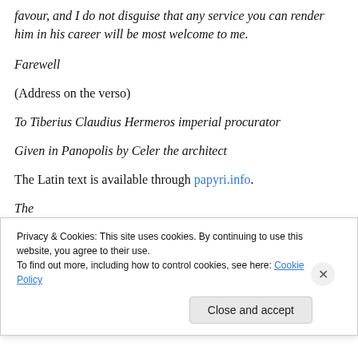favour, and I do not disguise that any service you can render him in his career will be most welcome to me.
Farewell
(Address on the verso)
To Tiberius Claudius Hermeros imperial procurator
Given in Panopolis by Celer the architect
The Latin text is available through papyri.info.
The Latin text is available through papyri.info. [truncated line below cookie banner]
Privacy & Cookies: This site uses cookies. By continuing to use this website, you agree to their use.
To find out more, including how to control cookies, see here: Cookie Policy